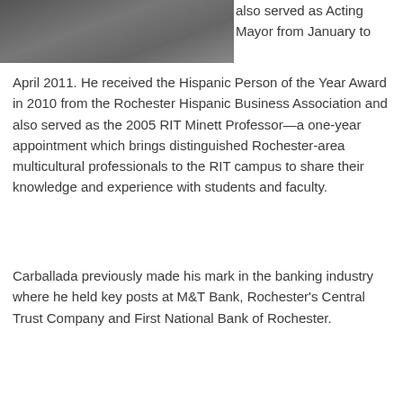[Figure (photo): Black and white photo of a person in formal attire, cropped at top of page]
also served as Acting Mayor from January to April 2011. He received the Hispanic Person of the Year Award in 2010 from the Rochester Hispanic Business Association and also served as the 2005 RIT Minett Professor—a one-year appointment which brings distinguished Rochester-area multicultural professionals to the RIT campus to share their knowledge and experience with students and faculty.
Carballada previously made his mark in the banking industry where he held key posts at M&T Bank, Rochester's Central Trust Company and First National Bank of Rochester.